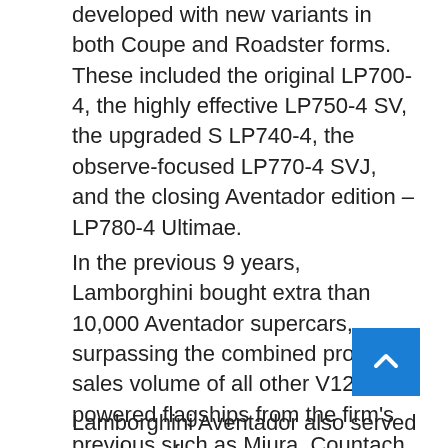developed with new variants in both Coupe and Roadster forms. These included the original LP700-4, the highly effective LP750-4 SV, the upgraded S LP740-4, the observe-focused LP770-4 SVJ, and the closing Aventador edition – LP780-4 Ultimae.
In the previous 9 years, Lamborghini bought extra than 10,000 Aventador supercars, surpassing the combined product sales volume of all other V12-powered flagships from the firm's previous such as Miura, Countach, Diablo, and Murcielago, the report mentioned. The hottest Aventador is also now marketed out and its 600 units incorporated an allocation of 350 coupes and 250 roadsters.
Lamborghini Aventador also served as a base for...